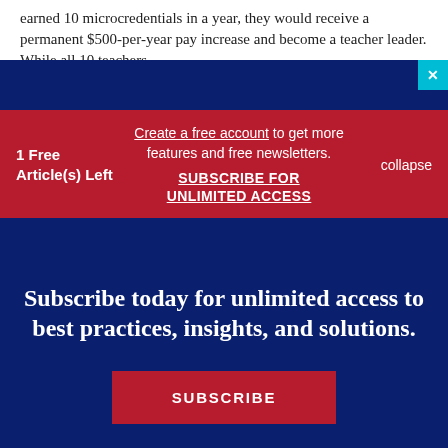earned 10 microcredentials in a year, they would receive a permanent $500-per-year pay increase and become a teacher leader. While all 10 teachers...
1 Free Article(s) Left
Create a free account to get more features and free newsletters.
SUBSCRIBE FOR UNLIMITED ACCESS
collapse
Subscribe today for unlimited access to best practices, insights, and solutions.
SUBSCRIBE